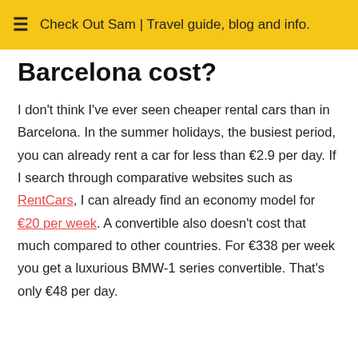Check Out Sam | Travel guide, blog and info.
Barcelona cost?
I don't think I've ever seen cheaper rental cars than in Barcelona. In the summer holidays, the busiest period, you can already rent a car for less than €2.9 per day. If I search through comparative websites such as RentCars, I can already find an economy model for €20 per week. A convertible also doesn't cost that much compared to other countries. For €338 per week you get a luxurious BMW-1 series convertible. That's only €48 per day.